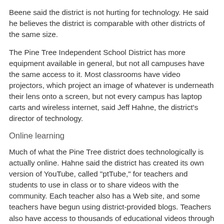Beene said the district is not hurting for technology. He said he believes the district is comparable with other districts of the same size.
The Pine Tree Independent School District has more equipment available in general, but not all campuses have the same access to it. Most classrooms have video projectors, which project an image of whatever is underneath their lens onto a screen, but not every campus has laptop carts and wireless internet, said Jeff Hahne, the district's director of technology.
Online learning
Much of what the Pine Tree district does technologically is actually online. Hahne said the district has created its own version of YouTube, called "ptTube," for teachers and students to use in class or to share videos with the community. Each teacher also has a Web site, and some teachers have begun using district-provided blogs. Teachers also have access to thousands of educational videos through an online subscription service.